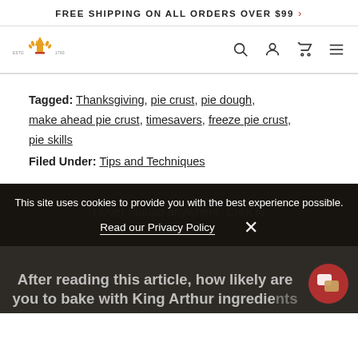FREE SHIPPING ON ALL ORDERS OVER $99 >
[Figure (logo): King Arthur Flour logo with crown and wheat, ESTD 1790]
Tagged: Thanksgiving, pie crust, pie dough, make ahead pie crust, timesavers, freeze pie crust, pie skills
Filed Under: Tips and Techniques
Hover mouse anywhere. Click to submit.
This site uses cookies to provide you with the best experience possible.
Read our Privacy Policy   ×
After reading this article, how likely are you to bake with King Arthur ingredients